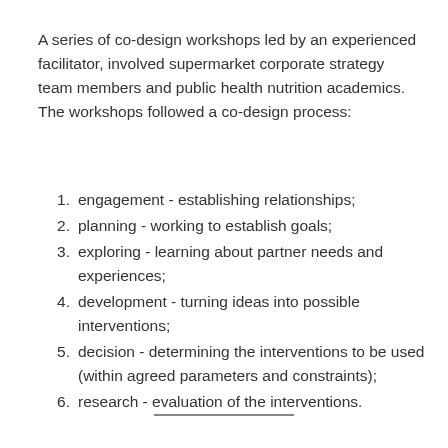A series of co-design workshops led by an experienced facilitator, involved supermarket corporate strategy team members and public health nutrition academics. The workshops followed a co-design process:
engagement - establishing relationships;
planning - working to establish goals;
exploring - learning about partner needs and experiences;
development - turning ideas into possible interventions;
decision - determining the interventions to be used (within agreed parameters and constraints);
research - evaluation of the interventions.